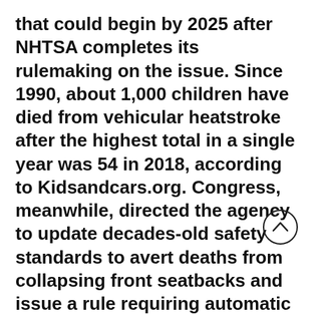that could begin by 2025 after NHTSA completes its rulemaking on the issue. Since 1990, about 1,000 children have died from vehicular heatstroke after the highest total in a single year was 54 in 2018, according to Kidsandcars.org. Congress, meanwhile, directed the agency to update decades-old safety standards to avert deaths from collapsing front seatbacks and issue a rule requiring automatic emergency braking and lane departure warnings in all passenger vehicles, though no date was set for compliance. Most automakers had already agreed to make automatic emergency braking
[Figure (other): A circular button with an upward-pointing chevron arrow, used for scrolling up.]